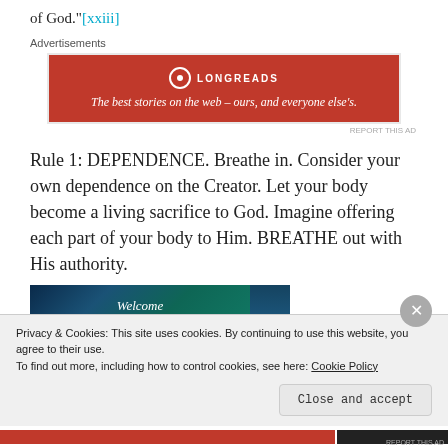of God."[xxiii]
[Figure (other): Longreads advertisement banner: red background with Longreads logo and tagline 'The best stories on the web — ours, and everyone else's.']
Rule 1: DEPENDENCE. Breathe in. Consider your own dependence on the Creator. Let your body become a living sacrifice to God. Imagine offering each part of your body to Him. BREATHE out with His authority.
[Figure (photo): Partial image showing 'Welcome to the' text on a dark peacock-feather background, partially cut off]
Privacy & Cookies: This site uses cookies. By continuing to use this website, you agree to their use.
To find out more, including how to control cookies, see here: Cookie Policy